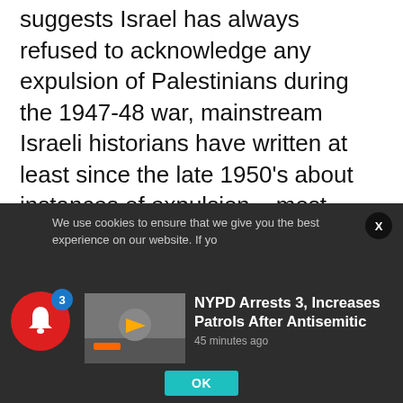suggests Israel has always refused to acknowledge any expulsion of Palestinians during the 1947-48 war, mainstream Israeli historians have written at least since the late 1950's about instances of expulsion – most notably from Arab towns and villages that were part of the Arab blockade of Jerusalem – which in their totality perhaps accounted for ten to fifteen percent of the refugees.

(What is rarely written of in glosses on the war and
We use cookies to ensure that we give you the best experience on our website. If yo
[Figure (screenshot): News notification card: thumbnail image of street scene with person in orange vest, headline 'NYPD Arrests 3, Increases Patrols After Antisemitic', timestamp '45 minutes ago']
OK